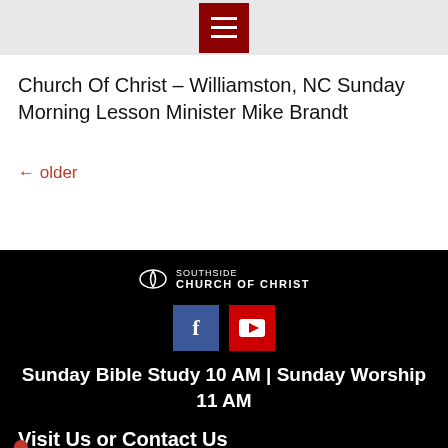[Figure (logo): Red hamburger menu icon button]
Church Of Christ – Williamston, NC Sunday Morning Lesson Minister Mike Brandt
← older
[Figure (logo): Southside Church of Christ logo with book icon]
[Figure (infographic): Facebook and YouTube social media icon buttons]
Sunday Bible Study 10 AM | Sunday Worship 11 AM
Visit Us or Contact Us